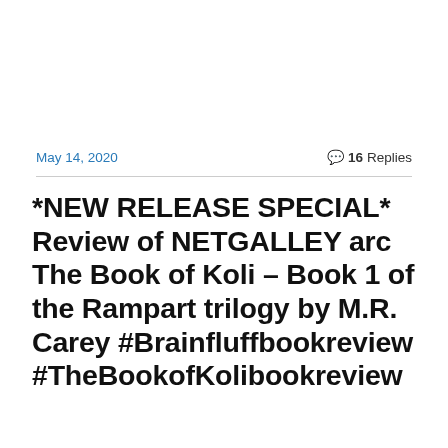May 14, 2020
💬 16 Replies
*NEW RELEASE SPECIAL* Review of NETGALLEY arc The Book of Koli – Book 1 of the Rampart trilogy by M.R. Carey #Brainfluffbookreview #TheBookofKolibookreview